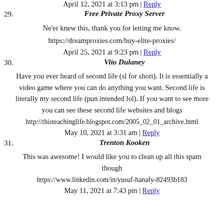April 12, 2021 at 3:13 pm | Reply
29. Free Private Proxy Server
Ne'er knew this, thank you for letting me know.
https://dreamproxies.com/buy-elite-proxies/
April 25, 2021 at 9:23 pm | Reply
30. Vito Dulaney
Have you ever heard of second life (sl for short). It is essentially a video game where you can do anything you want. Second life is literally my second life (pun intended lol). If you want to see more you can see these second life websites and blogs
http://thisteachinglife.blogspot.com/2005_02_01_archive.html
May 10, 2021 at 3:31 am | Reply
31. Trenton Kooken
This was awesome! I would like you to clean up all this spam though
https://www.linkedin.com/in/yusuf-hanafy-82493b183
May 11, 2021 at 7:43 pm | Reply